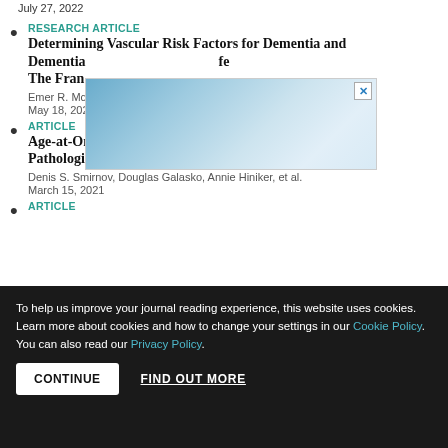July 27, 2022
RESEARCH ARTICLE
Determining Vascular Risk Factors for Dementia and Dementia-Free Midlife Cardiovascular Risk on Late-Life The Framingham Heart Study
Emer R. McGrath, Alexa S. Beiser, Adrienne O'Donnell, et al.
May 18, 2022
[Figure (photo): Advertisement overlay image with blue/cloudy background and close button X]
ARTICLE
Age-at-Onset and APOE-Related Heterogeneity in Pathologically Confirmed Sporadic Alzheimer Disease
Denis S. Smirnov, Douglas Galasko, Annie Hiniker, et al.
March 15, 2021
ARTICLE
To help us improve your journal reading experience, this website uses cookies. Learn more about cookies and how to change your settings in our Cookie Policy. You can also read our Privacy Policy.